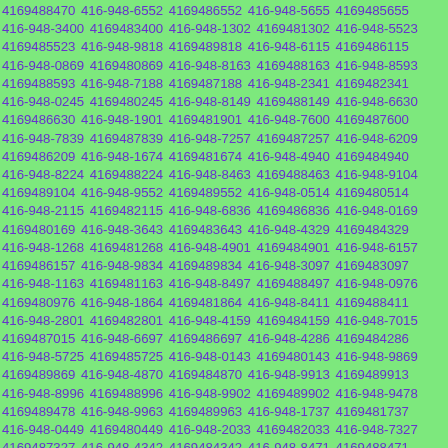4169488470 416-948-6552 4169486552 416-948-5655 4169485655 416-948-3400 4169483400 416-948-1302 4169481302 416-948-5523 4169485523 416-948-9818 4169489818 416-948-6115 4169486115 416-948-0869 4169480869 416-948-8163 4169488163 416-948-8593 4169488593 416-948-7188 4169487188 416-948-2341 4169482341 416-948-0245 4169480245 416-948-8149 4169488149 416-948-6630 4169486630 416-948-1901 4169481901 416-948-7600 4169487600 416-948-7839 4169487839 416-948-7257 4169487257 416-948-6209 4169486209 416-948-1674 4169481674 416-948-4940 4169484940 416-948-8224 4169488224 416-948-8463 4169488463 416-948-9104 4169489104 416-948-9552 4169489552 416-948-0514 4169480514 416-948-2115 4169482115 416-948-6836 4169486836 416-948-0169 4169480169 416-948-3643 4169483643 416-948-4329 4169484329 416-948-1268 4169481268 416-948-4901 4169484901 416-948-6157 4169486157 416-948-9834 4169489834 416-948-3097 4169483097 416-948-1163 4169481163 416-948-8497 4169488497 416-948-0976 4169480976 416-948-1864 4169481864 416-948-8411 4169488411 416-948-2801 4169482801 416-948-4159 4169484159 416-948-7015 4169487015 416-948-6697 4169486697 416-948-4286 4169484286 416-948-5725 4169485725 416-948-0143 4169480143 416-948-9869 4169489869 416-948-4870 4169484870 416-948-9913 4169489913 416-948-8996 4169488996 416-948-9902 4169489902 416-948-9478 4169489478 416-948-9963 4169489963 416-948-1737 4169481737 416-948-0449 4169480449 416-948-2033 4169482033 416-948-7327 4169487327 416-948-4342 4169484342 416-948-8471 4169488471 416-948-5916 4169485916 416-948-0248 4169480248